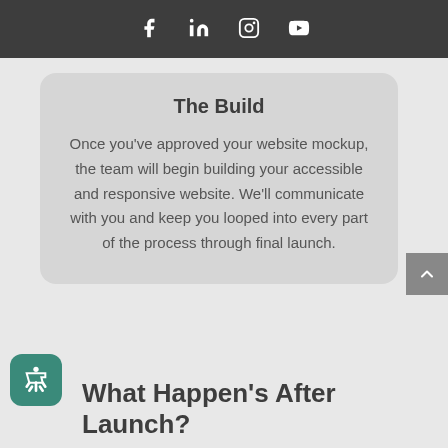Social media icons: Facebook, LinkedIn, Instagram, YouTube
The Build
Once you've approved your website mockup, the team will begin building your accessible and responsive website. We'll communicate with you and keep you looped into every part of the process through final launch.
What Happen's After Launch?